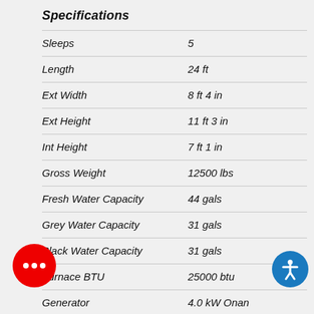Specifications
| Specification | Value |
| --- | --- |
| Sleeps | 5 |
| Length | 24 ft |
| Ext Width | 8 ft 4 in |
| Ext Height | 11 ft 3 in |
| Int Height | 7 ft 1 in |
| Gross Weight | 12500 lbs |
| Fresh Water Capacity | 44 gals |
| Grey Water Capacity | 31 gals |
| Black Water Capacity | 31 gals |
| Furnace BTU | 25000 btu |
| Generator | 4.0 kW Onan |
| Fuel Type | Gasoline |
| Engine | 7.3L V8 |